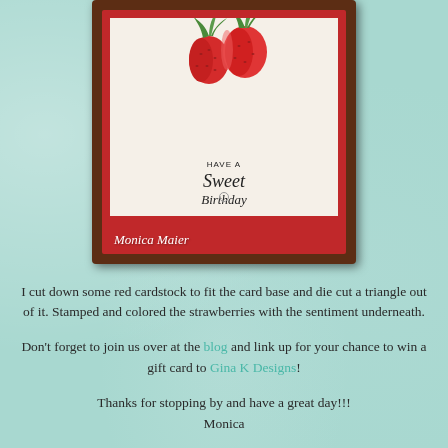[Figure (photo): A handmade birthday card displayed in a dark wood frame. The card has a red cardstock background with a cream/beige inner panel. Strawberries are stamped and colored at the top, with the sentiment 'Have a Sweet Birthday' below them. A tag with a hole is visible. The name 'Monica Maier' appears in script at the bottom of the card.]
I cut down some red cardstock to fit the card base and die cut a triangle out of it. Stamped and colored the strawberries with the sentiment underneath.
Don't forget to join us over at the blog and link up for your chance to win a gift card to Gina K Designs!
Thanks for stopping by and have a great day!!!
Monica